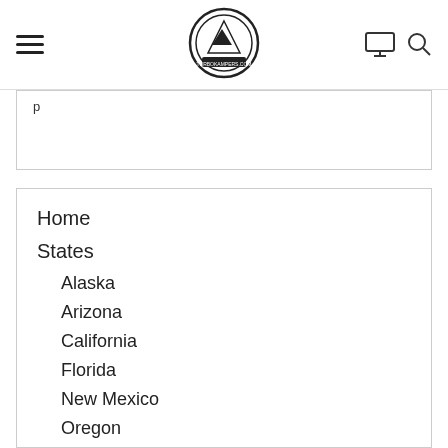Navigation header with hamburger menu, logo, monitor icon, and search icon
Home
States
Alaska
Arizona
California
Florida
New Mexico
Oregon
Utah
Washington